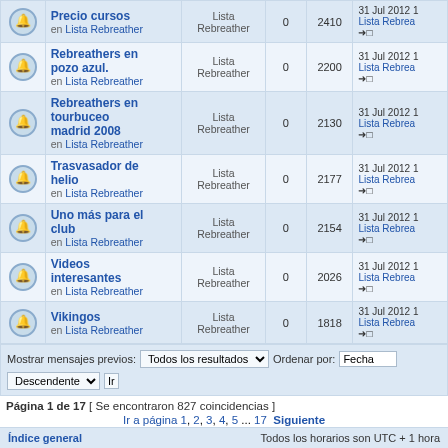|  | Tema | Foro | Respuestas | Visitas | Último mensaje |
| --- | --- | --- | --- | --- | --- |
|  | Precio cursos
en Lista Rebreather | Lista Rebreather | 0 | 2410 | 31 Jul 2012 1
Lista Rebrea
→□ |
|  | Rebreathers en pozo azul.
en Lista Rebreather | Lista Rebreather | 0 | 2200 | 31 Jul 2012 1
Lista Rebrea
→□ |
|  | Rebreathers en tourbuceo madrid 2008
en Lista Rebreather | Lista Rebreather | 0 | 2130 | 31 Jul 2012 1
Lista Rebrea
→□ |
|  | Trasvasador de helio
en Lista Rebreather | Lista Rebreather | 0 | 2177 | 31 Jul 2012 1
Lista Rebrea
→□ |
|  | Uno más para el club
en Lista Rebreather | Lista Rebreather | 0 | 2154 | 31 Jul 2012 1
Lista Rebrea
→□ |
|  | Videos interesantes
en Lista Rebreather | Lista Rebreather | 0 | 2026 | 31 Jul 2012 1
Lista Rebrea
→□ |
|  | Vikingos
en Lista Rebreather | Lista Rebreather | 0 | 1818 | 31 Jul 2012 1
Lista Rebrea
→□ |
Mostrar mensajes previos: Todos los resultados  Ordenar por: Fecha  Descendente  Ir
Página 1 de 17 [ Se encontraron 827 coincidencias ]
Ir a página 1, 2, 3, 4, 5 ... 17  Siguiente
Índice general    Todos los horarios son UTC + 1 hora